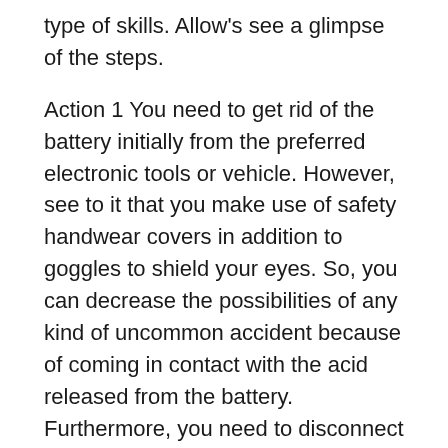type of skills. Allow's see a glimpse of the steps.
Action 1 You need to get rid of the battery initially from the preferred electronic tools or vehicle. However, see to it that you make use of safety handwear covers in addition to goggles to shield your eyes. So, you can decrease the possibilities of any kind of uncommon accident because of coming in contact with the acid released from the battery. Furthermore, you need to disconnect any kind of linked wires to the battery, likewise disconnect the power. These will certainly make certain safety and security as well as prevent shocks.